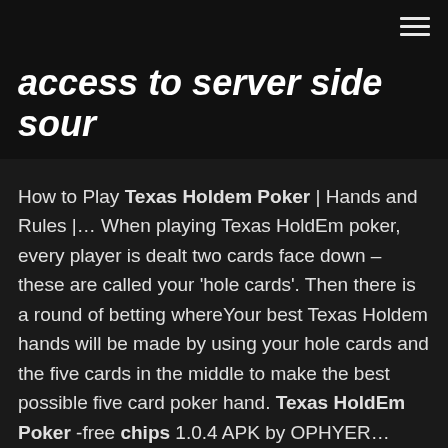access to server side sour
How to Play Texas Holdem Poker | Hands and Rules |... When playing Texas HoldEm poker, every player is dealt two cards face down – these are called your 'hole cards'. Then there is a round of betting whereYour best Texas Holdem hands will be made by using your hole cards and the five cards in the middle to make the best possible five card poker hand. Texas HoldEm Poker -free chips 1.0.4 APK by OPHYER... Free. Size: 12 MB. Android. Category: Casino. Playing for high stakes Play anytime & anywhere Play live with friends Glory of the king To win the lucrative prize. How to Play Texas Holdem Poker | A Beginner's Guide (... Poker is everywhere now, which is why you're here learning about it. Poker has one big thing over other casino games: The